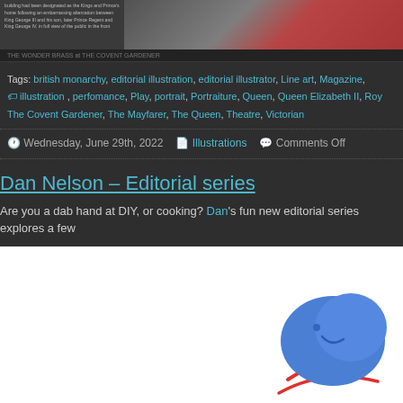[Figure (photo): Top banner showing a black and white illustration/photo on the left with text, and a colorful photograph on the right]
THE WONDER BRASS at THE COVENT GARDENER
Tags: british monarchy, editorial illustration, editorial illustrator, Line art, Magazine, illustration, perfomance, Play, portrait, Portraiture, Queen, Queen Elizabeth II, Roy, The Covent Gardener, The Mayfarer, The Queen, Theatre, Victorian
Wednesday, June 29th, 2022  Illustrations  Comments Off
Dan Nelson – Editorial series
Are you a dab hand at DIY, or cooking? Dan's fun new editorial series explores a few
[Figure (illustration): Colorful cartoon illustration showing abstract figures with blue blob character and red curved lines at the bottom of the page]